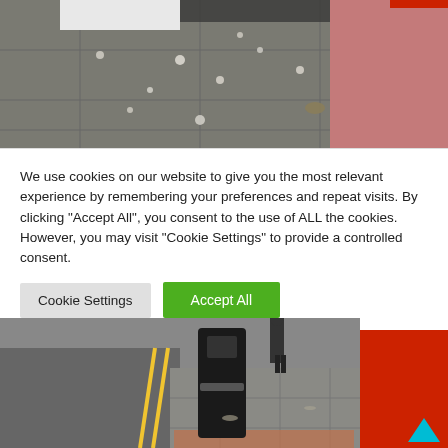[Figure (photo): Street pavement with debris/litter scattered near a pink/red wall and white door. Bird droppings or similar white marks visible on grey paving slabs.]
We use cookies on our website to give you the most relevant experience by remembering your preferences and repeat visits. By clicking "Accept All", you consent to the use of ALL the cookies. However, you may visit "Cookie Settings" to provide a controlled consent.
Cookie Settings | Accept All
[Figure (photo): Street view with a black bollard on a pavement next to a road with yellow double lines. A red shopfront is visible on the right. A person is walking in the background. A cyan/teal arrow icon appears in the bottom-right corner.]